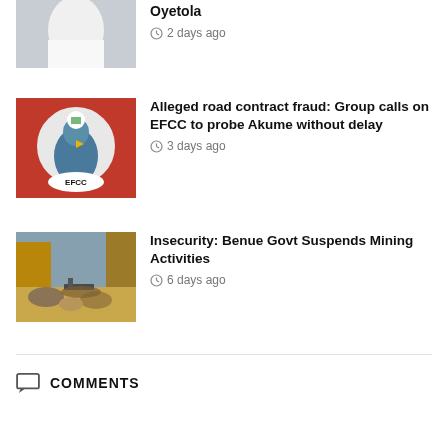[Figure (photo): Partial image of a person in white attire raising hand, cut off at top]
Oyetola
2 days ago
[Figure (photo): EFCC logo circular emblem with eagle and Nigerian coat of arms on red background]
Alleged road contract fraud: Group calls on EFCC to probe Akume without delay
3 days ago
[Figure (photo): Open pit mining site with excavators and yellow soil mounds]
Insecurity: Benue Govt Suspends Mining Activities
6 days ago
COMMENTS